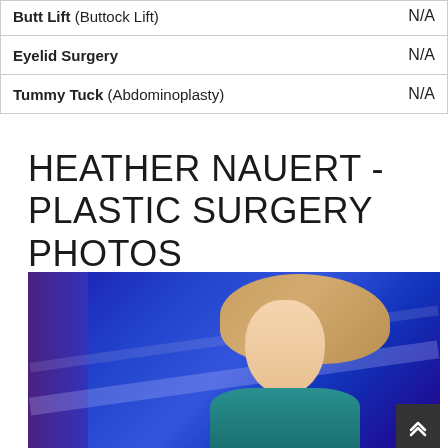| Procedure | Value |
| --- | --- |
| Butt Lift (Buttock Lift) | N/A |
| Eyelid Surgery | N/A |
| Tummy Tuck (Abdominoplasty) | N/A |
HEATHER NAUERT - PLASTIC SURGERY PHOTOS
[Figure (photo): Side profile photo of a blonde woman in a teal outfit against a blue TV studio background]